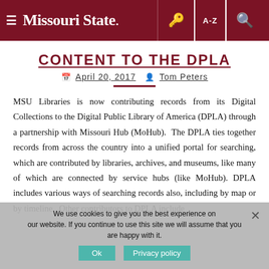Missouri State. [hamburger menu, key icon, A-Z icon, search icon]
CONTENT TO THE DPLA
April 20, 2017  Tom Peters
MSU Libraries is now contributing records from its Digital Collections to the Digital Public Library of America (DPLA) through a partnership with Missouri Hub (MoHub). The DPLA ties together records from across the country into a unified portal for searching, which are contributed by libraries, archives, and museums, like many of which are connected by service hubs (like MoHub). DPLA includes various ways of searching records also, including by map or by timeline. Other contributors to DPLA include
We use cookies to give you the best experience on our website. If you continue to use this site we will assume that you are happy with it.